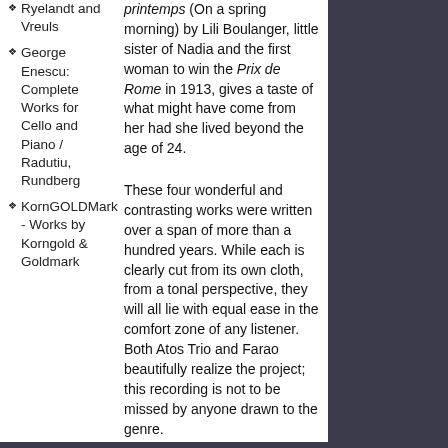Ryelandt and Vreuls
George Enescu: Complete Works for Cello and Piano / Radutiu, Rundberg
KornGOLDMark - Works by Korngold & Goldmark
printemps (On a spring morning) by Lili Boulanger, little sister of Nadia and the first woman to win the Prix de Rome in 1913, gives a taste of what might have come from her had she lived beyond the age of 24.
These four wonderful and contrasting works were written over a span of more than a hundred years. While each is clearly cut from its own cloth, from a tonal perspective, they will all lie with equal ease in the comfort zone of any listener. Both Atos Trio and Farao beautifully realize the project; this recording is not to be missed by anyone drawn to the genre.